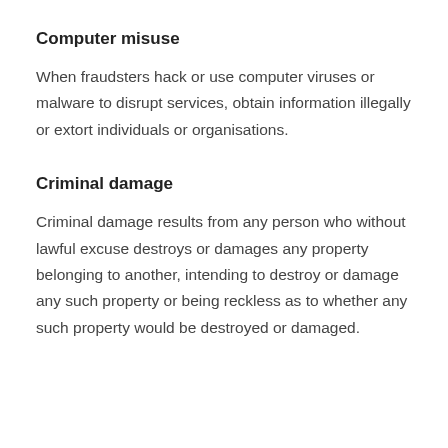Computer misuse
When fraudsters hack or use computer viruses or malware to disrupt services, obtain information illegally or extort individuals or organisations.
Criminal damage
Criminal damage results from any person who without lawful excuse destroys or damages any property belonging to another, intending to destroy or damage any such property or being reckless as to whether any such property would be destroyed or damaged.